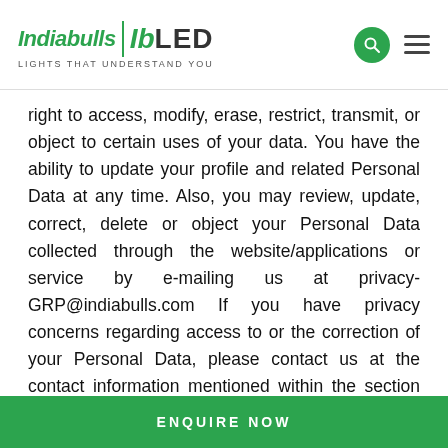[Figure (logo): Indiabulls IB LED logo with tagline LIGHTS THAT UNDERSTAND YOU, search icon, and hamburger menu icon]
right to access, modify, erase, restrict, transmit, or object to certain uses of your data. You have the ability to update your profile and related Personal Data at any time. Also, you may review, update, correct, delete or object your Personal Data collected through the website/applications or service by e-mailing us at privacy-GRP@indiabulls.com If you have privacy concerns regarding access to or the correction of your Personal Data, please contact us at the contact information mentioned within the section called “Data Privacy Issues and Whom to Contact” of this policy. In your request, please make clear what Personal Data you would like to have changed, whether you would like to have your Personal Data that you have provided to us
ENQUIRE NOW